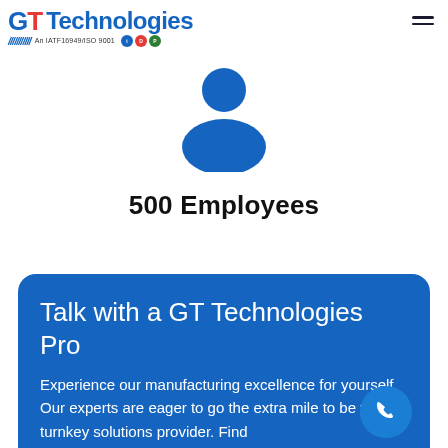GT Technologies — An IATF16949/ISO 9001 certified company
[Figure (illustration): Blue person/user silhouette icon representing employees]
500 Employees
Talk with a GT Technologies Pro
Experience our manufacturing excellence for yourself. Our experts are eager to go the extra mile to be your turnkey solutions provider. Find